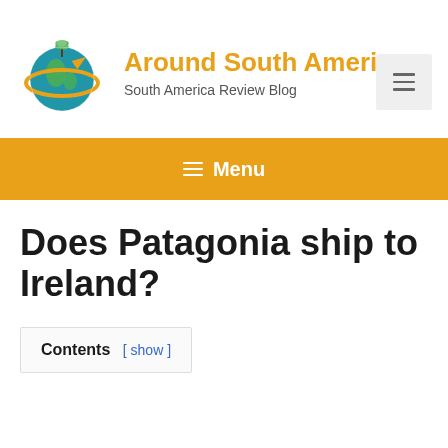Around South America – South America Review Blog
[Figure (logo): Around South America travel blog logo: globe with airplane and palm trees, orange and blue]
Does Patagonia ship to Ireland?
Contents [ show ]